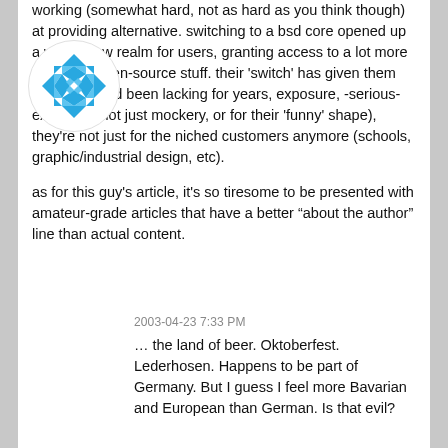working (somewhat hard, not as hard as you think though) at providing alternative. switching to a bsd core opened up a whole new realm for users, granting access to a lot more apps and open-source stuff. their 'switch' has given them what they had been lacking for years, exposure, -serious-exposure (not just mockery, or for their 'funny' shape), they're not just for the niched customers anymore (schools, graphic/industrial design, etc).

as for this guy's article, it's so tiresome to be presented with amateur-grade articles that have a better “about the author” line than actual content.
[Figure (illustration): Circular avatar with a blue geometric/diamond pattern mosaic design on white background]
2003-04-23 7:33 PM
… the land of beer. Oktoberfest. Lederhosen. Happens to be part of Germany. But I guess I feel more Bavarian and European than German. Is that evil?